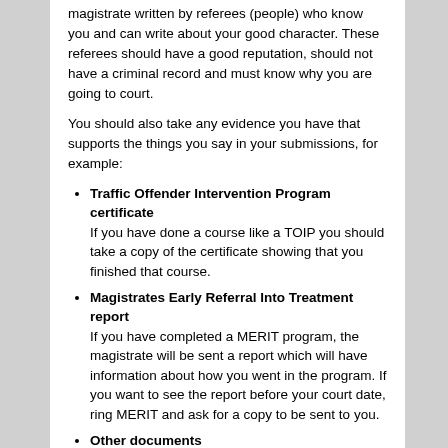magistrate written by referees (people) who know you and can write about your good character. These referees should have a good reputation, should not have a criminal record and must know why you are going to court.
You should also take any evidence you have that supports the things you say in your submissions, for example:
Traffic Offender Intervention Program certificate If you have done a course like a TOIP you should take a copy of the certificate showing that you finished that course.
Magistrates Early Referral Into Treatment report If you have completed a MERIT program, the magistrate will be sent a report which will have information about how you went in the program. If you want to see the report before your court date, ring MERIT and ask for a copy to be sent to you.
Other documents Depending on your circumstances, it may also be a good idea to bring medical certificates, receipts, a letter or report from a counsellor and evidence of your income and assets.